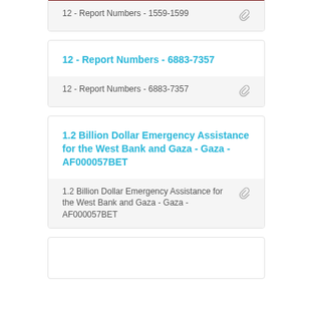[Figure (other): Partial dark red/maroon image cropped at top of page]
12 - Report Numbers - 1559-1599
12 - Report Numbers - 6883-7357
12 - Report Numbers - 6883-7357
1.2 Billion Dollar Emergency Assistance for the West Bank and Gaza - Gaza - AF000057BET
1.2 Billion Dollar Emergency Assistance for the West Bank and Gaza - Gaza - AF000057BET